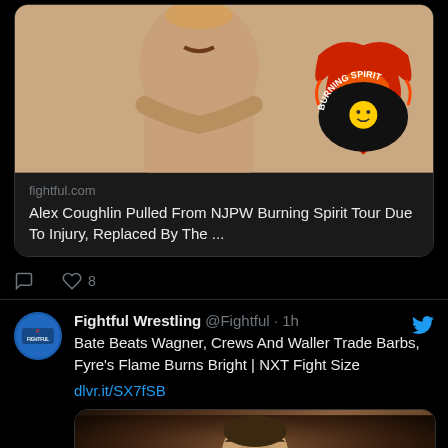[Figure (screenshot): Twitter/X screenshot showing two tweets from Fightful Wrestling account. Top tweet shows link preview for fightful.com article about Alex Coughlin being pulled from NJPW Burning Spirit Tour with wrestler photo and Burning Spirit logo. Bottom tweet shows Fightful Wrestling handle with text about Bate Beats Wagner article and link to dlvr.it/SX7fSB with a photo of a wrestler.]
fightful.com
Alex Coughlin Pulled From NJPW Burning Spirit Tour Due To Injury, Replaced By The ...
Fightful Wrestling @Fightful · 1h
Bate Beats Wagner, Crews And Waller Trade Barbs, Fyre's Flame Burns Bright | NXT Fight Size
dlvr.it/SX7fSB